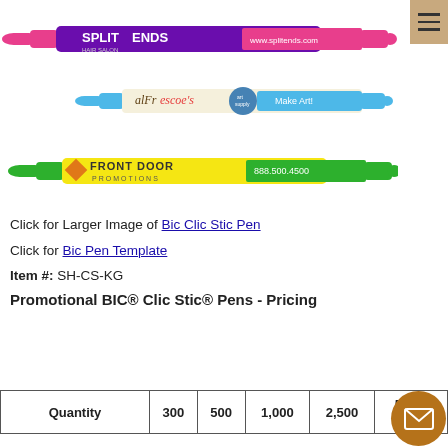[Figure (photo): Three promotional BIC Clic Stic pens shown horizontally. Top pen: pink tip and grip, purple barrel with 'SPLIT ENDS HAIR SALON' branding and www.splitends.com. Middle pen: blue tip and grip, cream/beige barrel with 'alFrescoe's art supply' and 'Make Art'. Bottom pen: green tip and grip, yellow barrel with 'FRONT DOOR PROMOTIONS' and 888.500.4500.]
Click for Larger Image of Bic Clic Stic Pen
Click for Bic Pen Template
Item #: SH-CS-KG
Promotional BIC® Clic Stic® Pens - Pricing
| Quantity | 300 | 500 | 1,000 | 2,500 | 5,000 & up |
| --- | --- | --- | --- | --- | --- |